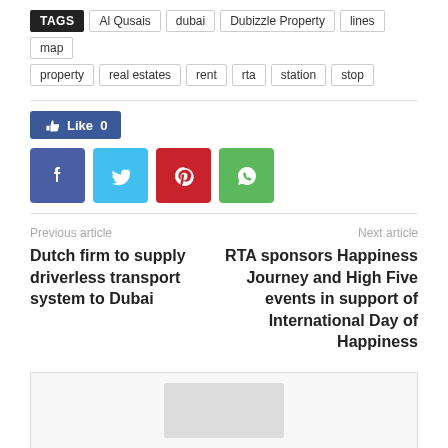TAGS  Al Qusais  dubai  Dubizzle Property  lines  map  property  real estates  rent  rta  station  stop
[Figure (infographic): Social sharing section with Like button (count 0) and four social media icon buttons: Facebook (blue), Twitter (cyan), Pinterest (red), WhatsApp (green)]
Previous article
Next article
Dutch firm to supply driverless transport system to Dubai
RTA sponsors Happiness Journey and High Five events in support of International Day of Happiness
[Figure (other): Partially visible box at the bottom of the page with a grey placeholder image in the center]